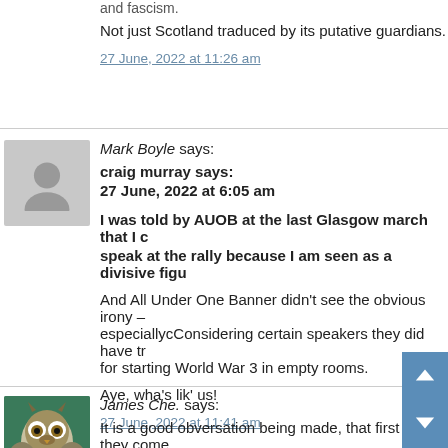and fascism.
Not just Scotland traduced by its putative guardians.
27 June, 2022 at 11:26 am
Mark Boyle says:
craig murray says:
27 June, 2022 at 6:05 am
I was told by AUOB at the last Glasgow march that I c… speak at the rally because I am seen as a divisive figu…
And All Under One Banner didn't see the obvious irony – especiallycConsidering certain speakers they did have tr… for starting World War 3 in empty rooms.
Aye, wha's lik' us!
27 June, 2022 at 11:41 am
James Che. says:
It is a good obversation being made, that first they come … etc.
This can be seen with snp over the years,
Can we presume that when the list of independen…